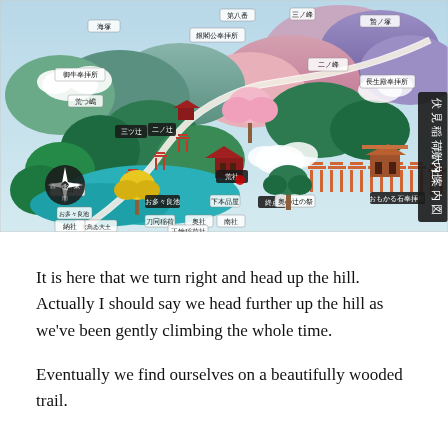[Figure (map): Illustrated colorful map of Fushimi Inari Taisha shrine grounds (伏見稲荷大社 境内案内図) showing the winding path with red torii gates, various shrine buildings, trees, mountains, and Japanese labels for different locations throughout the grounds.]
It is here that we turn right and head up the hill. Actually I should say we head further up the hill as we've been gently climbing the whole time.
Eventually we find ourselves on a beautifully wooded trail.